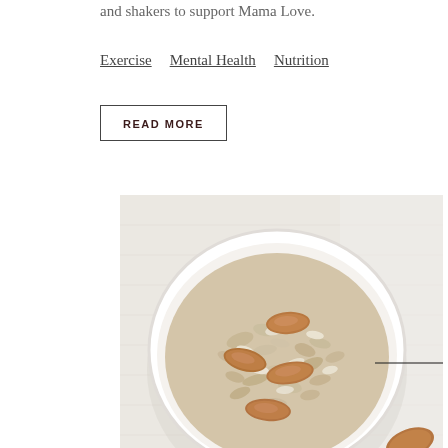and shakers to support Mama Love.
Exercise   Mental Health   Nutrition
READ MORE
[Figure (photo): Overhead view of a white bowl filled with oatmeal topped with whole almonds and sliced coconut flakes, on a white linen background.]